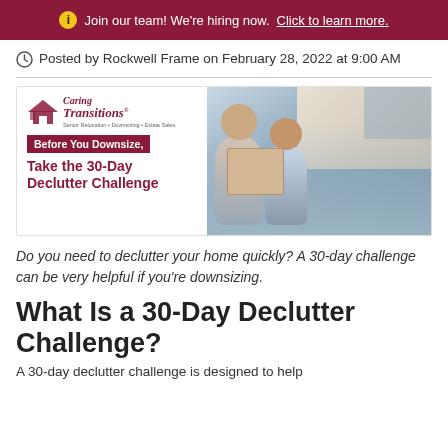Join our team! We're hiring now. Click to learn more.
Posted by Rockwell Frame on February 28, 2022 at 9:00 AM
[Figure (illustration): Caring Transitions promotional banner showing logo, 'Before You Downsize, Take the 30-Day Declutter Challenge' text, and a photo of a smiling older couple carrying moving boxes outside a house.]
Do you need to declutter your home quickly? A 30-day challenge can be very helpful if you're downsizing.
What Is a 30-Day Declutter Challenge?
A 30-day declutter challenge is designed to help